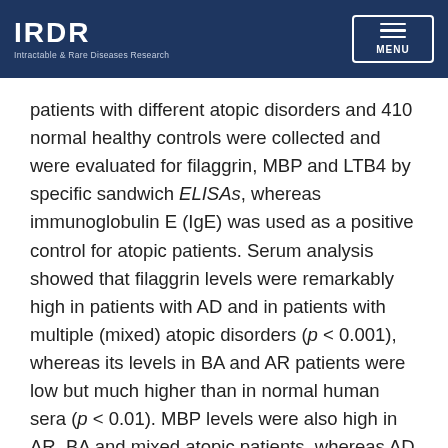IRDR — Intractable & Rare Diseases Research
patients with different atopic disorders and 410 normal healthy controls were collected and were evaluated for filaggrin, MBP and LTB4 by specific sandwich ELISAs, whereas immunoglobulin E (IgE) was used as a positive control for atopic patients. Serum analysis showed that filaggrin levels were remarkably high in patients with AD and in patients with multiple (mixed) atopic disorders (p < 0.001), whereas its levels in BA and AR patients were low but much higher than in normal human sera (p < 0.01). MBP levels were also high in AR, BA and mixed atopic patients, whereas AD patients showed no increase of MBP (p > 0.05). In contrast, LTB4 level was found to be significantly low in all tested atopic patients groups as compared to the levels of LTB4 present in normal human sera (p < 0.001). In conclusion, these findings support an association between filaggrin, MBP or LTB4 and atopic disorders. Our data strongly suggest that filaggrin, MBP or